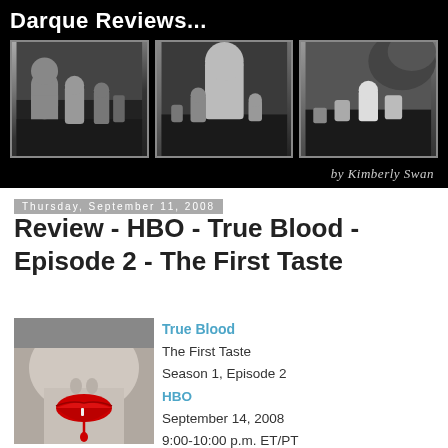[Figure (illustration): Darque Reviews header banner with three black-and-white cemetery photos and the title 'Darque Reviews...' and byline 'by Kimberly Swan' on black background]
Thursday, September 11, 2008
Review - HBO - True Blood - Episode 2 - The First Taste
[Figure (photo): Close-up black and white photo of a woman's lower face with bright red lips slightly open and blood dripping, suggesting vampire theme]
True Blood
The First Taste
Season 1, Episode 2
HBO
September 14, 2008
9:00-10:00 p.m. ET/PT